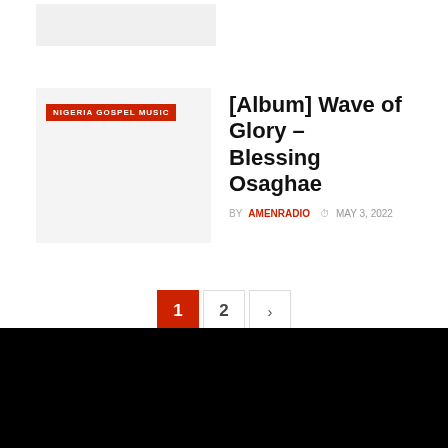[Figure (other): Placeholder image at top]
[Figure (photo): Album thumbnail placeholder with NIGERIA GOSPEL MUSIC category badge]
[Album] Wave of Glory – Blessing Osaghae
BY AMENRADIO   MAY 3, 2022
1 2 >
">
[Figure (other): Black footer bar]